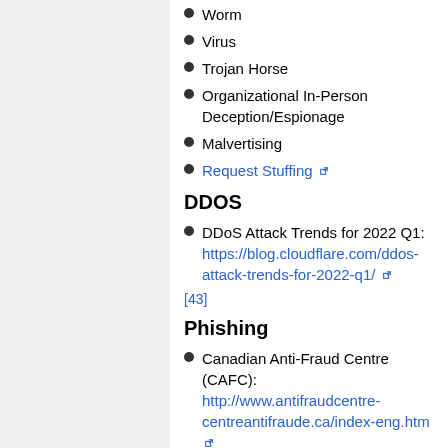Worm
Virus
Trojan Horse
Organizational In-Person Deception/Espionage
Malvertising
Request Stuffing
DDOS
DDoS Attack Trends for 2022 Q1: https://blog.cloudflare.com/ddos-attack-trends-for-2022-q1/
[43]
Phishing
Canadian Anti-Fraud Centre (CAFC): http://www.antifraudcentre-centreantifraude.ca/index-eng.htm
[44] [45] [46] [47] [48] [49]